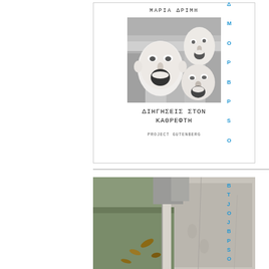[Figure (illustration): Book cover showing white sculptural faces/masks against a building background. Author: ΜΑΡΙΑ ΔΡΙΜΗ. Title: ΔΙΗΓΗΣΕΙΣ ΣΤΟΝ ΚΑΘΡΕΦΤΗ. Publisher: PROJECT GUTENBERG.]
[Figure (photo): Outdoor photograph showing grass/weeds along a concrete sidewalk or path edge, viewed from above.]